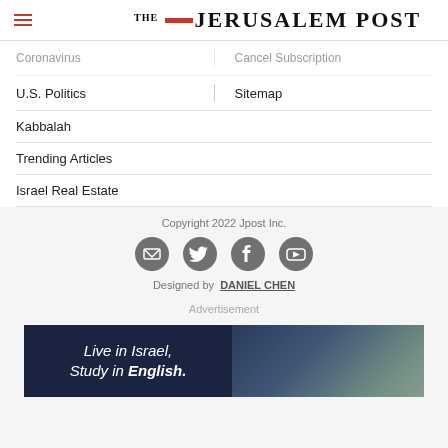The Jerusalem Post
Coronavirus / Cancel Subscription
U.S. Politics / Sitemap
Kabbalah
Trending Articles
Israel Real Estate
Copyright 2022 Jpost Inc.
[Figure (illustration): Social media icons: email, Twitter, Facebook, YouTube — grey circles with white icons]
Designed by  DANIEL CHEN
Advertisement
[Figure (photo): Advertisement banner: dark blue background with italic white text 'Live in Israel, Study in English.' and a photo of students on grass]